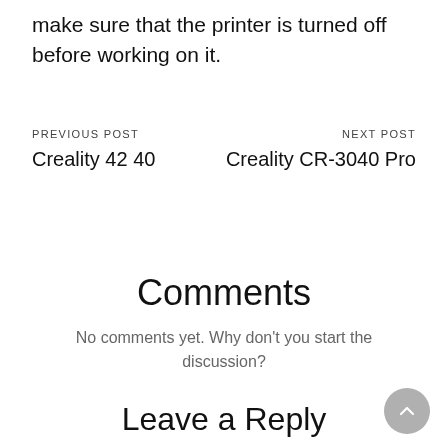make sure that the printer is turned off before working on it.
PREVIOUS POST
Creality 42 40
NEXT POST
Creality CR-3040 Pro
Comments
No comments yet. Why don't you start the discussion?
Leave a Reply